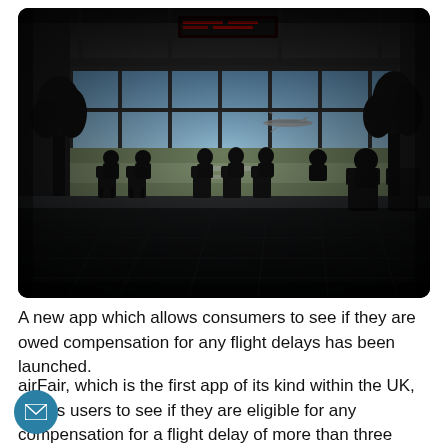[Figure (photo): Airport terminal interior with silhouettes of people sitting in waiting area chairs against a large floor-to-ceiling glass window showing the runway and aircraft outside. Dark moody lighting with reflective tiled floor.]
A new app which allows consumers to see if they are owed compensation for any flight delays has been launched.
airFair, which is the first app of its kind within the UK, allows users to see if they are eligible for any compensation for a flight delay of more than three hours in the EU over the past six years.